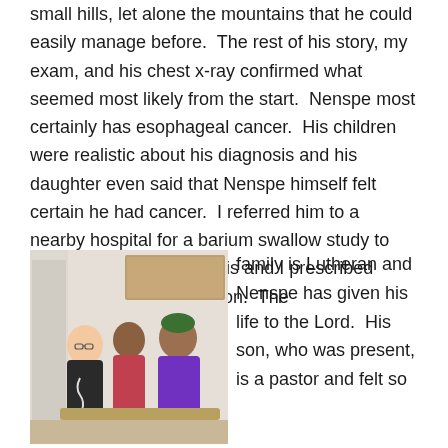small hills, let alone the mountains that he could easily manage before.  The rest of his story, my exam, and his chest x-ray confirmed what seemed most likely from the start.  Nenspe most certainly has esophageal cancer.  His children were realistic about his diagnosis and his daughter even said that Nenspe himself felt certain he had cancer.  I referred him to a nearby hospital for a barium swallow study to help confirm the diagnosis and I prescribed some mild pain medication.  The
[Figure (photo): A photograph of three people sitting together: a young woman with glasses wearing a black top on the left, an elderly man in the middle wearing a colorful shirt, and a woman on the right wearing a purple jacket and green/yellow beanie hat. They appear to be in a medical or community center setting.]
family is Lutheran and Nenspe has given his life to the Lord.  His son, who was present, is a pastor and felt so